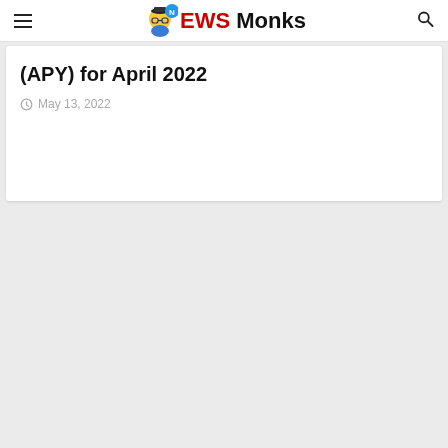NEWS Monks
(APY) for April 2022
May 13, 2022